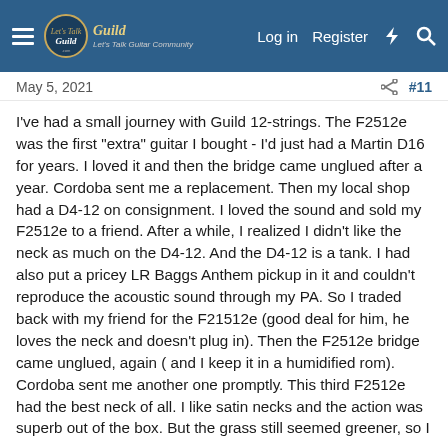Let's Talk Guild — Log in | Register
May 5, 2021  #11
I've had a small journey with Guild 12-strings. The F2512e was the first "extra" guitar I bought - I'd just had a Martin D16 for years. I loved it and then the bridge came unglued after a year. Cordoba sent me a replacement. Then my local shop had a D4-12 on consignment. I loved the sound and sold my F2512e to a friend. After a while, I realized I didn't like the neck as much on the D4-12. And the D4-12 is a tank. I had also put a pricey LR Baggs Anthem pickup in it and couldn't reproduce the acoustic sound through my PA. So I traded back with my friend for the F21512e (good deal for him, he loves the neck and doesn't plug in). Then the F2512e bridge came unglued, again ( and I keep it in a humidified rom). Cordoba sent me another one promptly. This third F2512e had the best neck of all. I like satin necks and the action was superb out of the box. But the grass still seemed greener, so I picked up a cheap used F1512e. Had it set up and everything and I just didn't like the fit and finish as much as the simpler, cheaper F2512e. I wouldn't say the tone was better, just different. So I sold the F1512e.